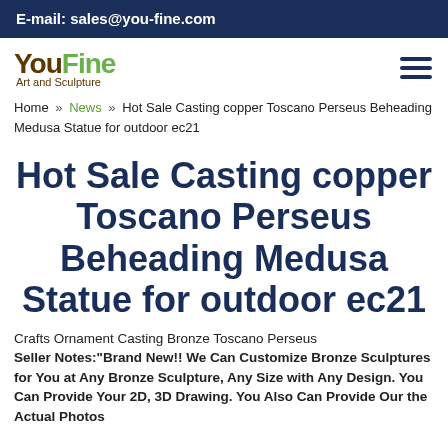E-mail: sales@you-fine.com
[Figure (logo): YouFine Art and Sculpture logo with hamburger menu icon]
Home » News » Hot Sale Casting copper Toscano Perseus Beheading Medusa Statue for outdoor ec21
Hot Sale Casting copper Toscano Perseus Beheading Medusa Statue for outdoor ec21
Crafts Ornament Casting Bronze Toscano Perseus Seller Notes:"Brand New!! We Can Customize Bronze Sculptures for You at Any Bronze Sculpture, Any Size with Any Design. You Can Provide Your 2D, 3D Drawing. You Also Can Provide Our the Actual Photos